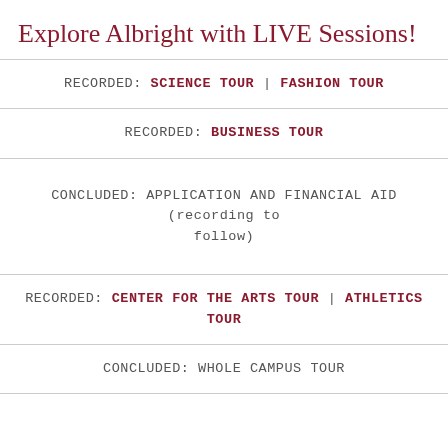Explore Albright with LIVE Sessions!
RECORDED: SCIENCE TOUR | FASHION TOUR
RECORDED: BUSINESS TOUR
CONCLUDED: APPLICATION AND FINANCIAL AID (recording to follow)
RECORDED: CENTER FOR THE ARTS TOUR | ATHLETICS TOUR
CONCLUDED: WHOLE CAMPUS TOUR